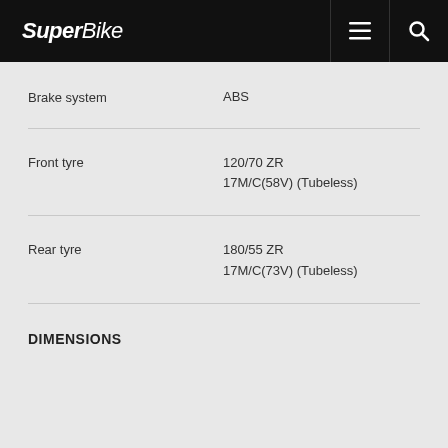SuperBike
| Property | Value |
| --- | --- |
| Brake system | ABS |
| Front tyre | 120/70 ZR 17M/C(58V) (Tubeless) |
| Rear tyre | 180/55 ZR 17M/C(73V) (Tubeless) |
DIMENSIONS